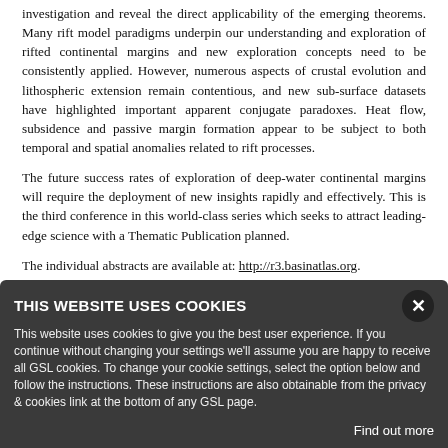investigation and reveal the direct applicability of the emerging theorems. Many rift model paradigms underpin our understanding and exploration of rifted continental margins and new exploration concepts need to be consistently applied. However, numerous aspects of crustal evolution and lithospheric extension remain contentious, and new sub-surface datasets have highlighted important apparent conjugate paradoxes. Heat flow, subsidence and passive margin formation appear to be subject to both temporal and spatial anomalies related to rift processes.
The future success rates of exploration of deep-water continental margins will require the deployment of new insights rapidly and effectively. This is the third conference in this world-class series which seeks to attract leading-edge science with a Thematic Publication planned.
The individual abstracts are available at: http://r3.basinatlas.org.
For further information, please contact Laura Griffiths
[Figure (screenshot): Cookie consent overlay on a dark grey background, with title 'THIS WEBSITE USES COOKIES', a close (X) button, body text explaining cookie usage, and a 'Find out more' link at bottom right. Partially visible text behind the overlay includes 'Registration' and text about a reduced fee.]